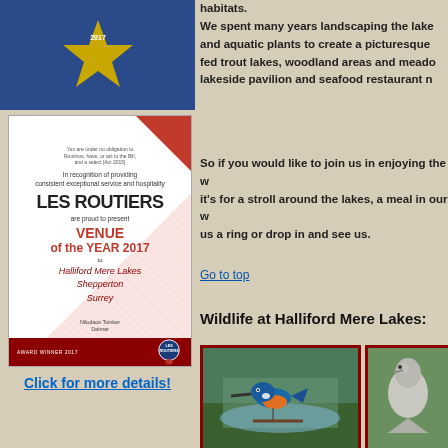[Figure (photo): Blue award badge with gold star shape on dark blue background (Les Routiers logo)]
[Figure (photo): Les Routiers certificate: Venue of the Year 2017 awarded to Halliford Mere Lakes, Shepperton, Surrey. In recognition of providing consistent exceptional service and hospitality. Award Winner 2017 badge at bottom.]
Click for more details!
habitats.
We spent many years landscaping the lake and aquatic plants to create a picturesque fed trout lakes, woodland areas and meado lakeside pavilion and seafood restaurant n
So if you would like to join us in enjoying the w it's for a stroll around the lakes, a meal in our w us a ring or drop in and see us.
Go to top
Wildlife at Halliford Mere Lakes:
[Figure (photo): Kingfisher bird perched near water with lake background]
[Figure (photo): Partially visible bird photo (second wildlife image)]